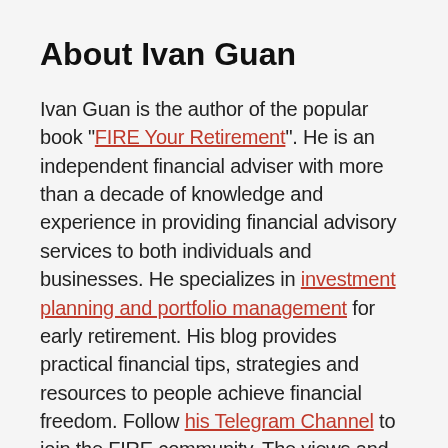About Ivan Guan
Ivan Guan is the author of the popular book "FIRE Your Retirement". He is an independent financial adviser with more than a decade of knowledge and experience in providing financial advisory services to both individuals and businesses. He specializes in investment planning and portfolio management for early retirement. His blog provides practical financial tips, strategies and resources to people achieve financial freedom. Follow his Telegram Channel to join the FIRE community. The views and opinions expressed in this article are those of the author. This does not reflect the official position of any agency